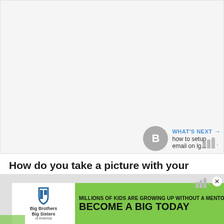[Figure (screenshot): Top advertisement area placeholder, light gray background with Wordmark icon in bottom right]
How do you take a picture with your phone button?
To take a picture with your phone's button, hold down the button on the side of your phone and point it towards your subject. When you're ready to take the picture, release the button.
[Figure (screenshot): Bottom advertisement banner for Big Brothers Big Sisters: MILLIONS OF KIDS ARE GROWING UP WITHOUT A MENTOR. BECOME A BIG TODAY. Learn How button.]